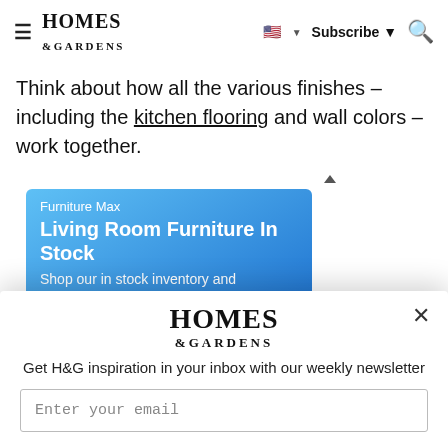HOMES & GARDENS — Subscribe — [Search]
Think about how all the various finishes – including the kitchen flooring and wall colors – work together.
[Figure (screenshot): Advertisement for Furniture Max showing 'Living Room Furniture In Stock' with text 'Shop our in stock inventory and take home your favorites' on a blue gradient background, with a partial Google Maps strip showing McNair area below.]
[Figure (infographic): Newsletter signup modal overlay for Homes & Gardens with logo, description text 'Get H&G inspiration in your inbox with our weekly newsletter', and an email input field.]